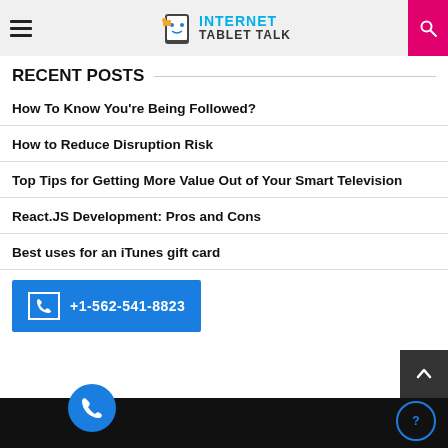Internet Tablet Talk
RECENT POSTS
How To Know You’re Being Followed?
How to Reduce Disruption Risk
Top Tips for Getting More Value Out of Your Smart Television
React.JS Development: Pros and Cons
Best uses for an iTunes gift card
+1-562-541-8823